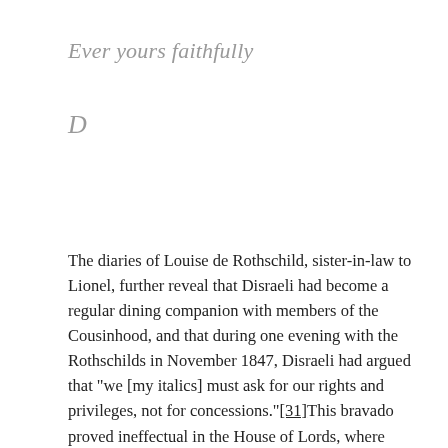Ever yours faithfully
D
The diaries of Louise de Rothschild, sister-in-law to Lionel, further reveal that Disraeli had become a regular dining companion with members of the Cousinhood, and that during one evening with the Rothschilds in November 1847, Disraeli had argued that "we [my italics] must ask for our rights and privileges, not for concessions."[31]This bravado proved ineffectual in the House of Lords, where hereditary, non-elected nobles continued to reject the Jewish Disabilities Bills for another decade. This obstruction was only ended in 1858, when a change in government allowed Disraeli himself to become Leader of the House of Commons, a